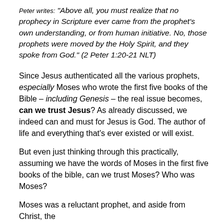Peter writes: "Above all, you must realize that no prophecy in Scripture ever came from the prophet's own understanding, or from human initiative. No, those prophets were moved by the Holy Spirit, and they spoke from God." (2 Peter 1:20-21 NLT)
Since Jesus authenticated all the various prophets, especially Moses who wrote the first five books of the Bible – including Genesis – the real issue becomes, can we trust Jesus? As already discussed, we indeed can and must for Jesus is God. The author of life and everything that's ever existed or will exist.
But even just thinking through this practically, assuming we have the words of Moses in the first five books of the bible, can we trust Moses? Who was Moses?
Moses was a reluctant prophet, and aside from Christ, the